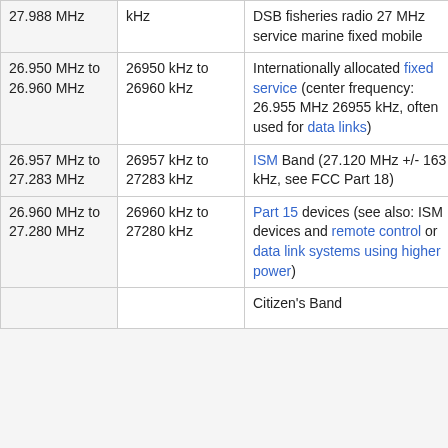| Frequency Range | Bandwidth / kHz | Notes |
| --- | --- | --- |
| 27.988 MHz | kHz | DSB fisheries radio 27 MHz service marine fixed mobile |
| 26.950 MHz to 26.960 MHz | 26950 kHz to 26960 kHz | Internationally allocated fixed service (center frequency: 26.955 MHz 26955 kHz, often used for data links) |
| 26.957 MHz to 27.283 MHz | 26957 kHz to 27283 kHz | ISM Band (27.120 MHz +/- 163 kHz, see FCC Part 18) |
| 26.960 MHz to 27.280 MHz | 26960 kHz to 27280 kHz | Part 15 devices (see also: ISM devices and remote control or data link systems using higher power) |
|  |  | Citizen's Band |